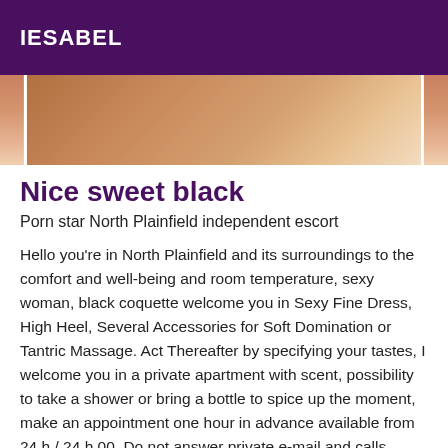IESABEL
[Figure (photo): Partial photo showing skin tones, cropped body image with warm brown and beige tones]
Nice sweet black
Porn star North Plainfield independent escort
Hello you're in North Plainfield and its surroundings to the comfort and well-being and room temperature, sexy woman, black coquette welcome you in Sexy Fine Dress, High Heel, Several Accessories for Soft Domination or Tantric Massage. Act Thereafter by specifying your tastes, I welcome you in a private apartment with scent, possibility to take a shower or bring a bottle to spice up the moment, make an appointment one hour in advance available from 24 h / 24 h 00. Do not answer private e-mail and calls, Discretion and hygiene are de rigueur. No endless SMS, curious morons refrain, by the way if you are looking for company for a dinner, an outing, a night or another trip